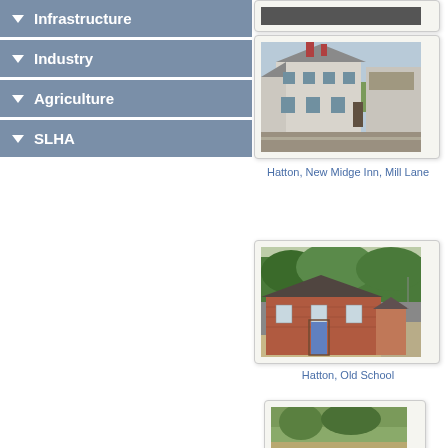Infrastructure
Industry
Agriculture
SLHA
[Figure (photo): Partial view of a building, cropped at top of page]
[Figure (photo): Photo of Hatton, New Midge Inn on Mill Lane - a white painted building]
Hatton, New Midge Inn, Mill Lane
[Figure (photo): Photo of Hatton, Old School - a red brick building with blue door]
Hatton, Old School
[Figure (photo): Partial photo visible at bottom of page, showing greenery]